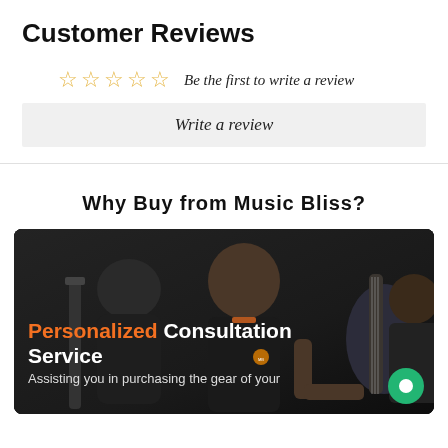Customer Reviews
☆☆☆☆☆ Be the first to write a review
Write a review
Why Buy from Music Bliss?
[Figure (photo): Dark background photo of two people in a music store, one wearing a black Music Bliss shirt holding a guitar, guitars visible in background. Text overlay reads 'Personalized Consultation Service - Assisting you in purchasing the gear of your']
Personalized Consultation Service
Assisting you in purchasing the gear of your